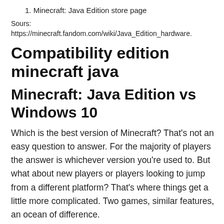1. Minecraft: Java Edition store page
Sours:
https://minecraft.fandom.com/wiki/Java_Edition_hardware.
Compatibility edition minecraft java
Minecraft: Java Edition vs Windows 10
Which is the best version of Minecraft? That's not an easy question to answer. For the majority of players the answer is whichever version you're used to. But what about new players or players looking to jump from a different platform? That's where things get a little more complicated. Two games, similar features, an ocean of difference.